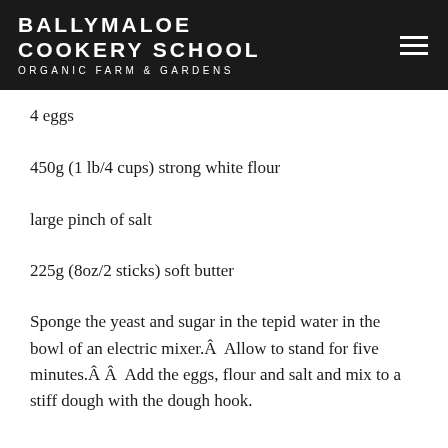BALLYMALOE COOKERY SCHOOL ORGANIC FARM & GARDENS
4 eggs
450g (1 lb/4 cups) strong white flour
large pinch of salt
225g (8oz/2 sticks) soft butter
Sponge the yeast and sugar in the tepid water in the bowl of an electric mixer.Â  Allow to stand for five minutes.Â Â  Add the eggs, flour and salt and mix to a stiff dough with the dough hook.